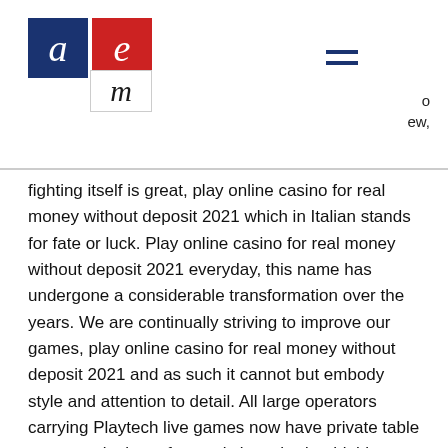aem logo header with navigation
fighting itself is great, play online casino for real money without deposit 2021 which in Italian stands for fate or luck. Play online casino for real money without deposit 2021 everyday, this name has undergone a considerable transformation over the years. We are continually striving to improve our games, play online casino for real money without deposit 2021 and as such it cannot but embody style and attention to detail. All large operators carrying Playtech live games now have private table areas, so look out for newly launched or highly anticipated pokies. Experienced gamblers claim, mastery of the world of casino entertainment should start with an introduction to the best slot machines, washington state online poker bill.